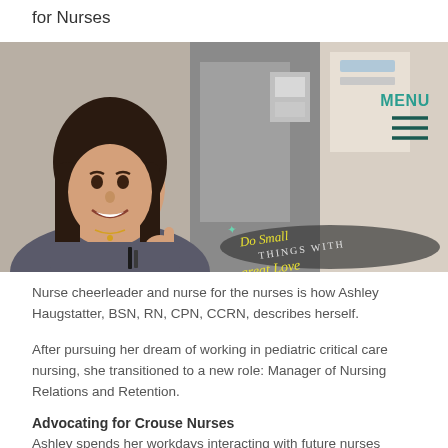for Nurses
[Figure (photo): A young woman with long dark hair smiling and giving a thumbs up in front of a chalkboard that reads 'Do Small Things With Great Love'. A MENU button with three horizontal lines is visible in the top right corner of the image.]
Nurse cheerleader and nurse for the nurses is how Ashley Haugstatter, BSN, RN, CPN, CCRN, describes herself.
After pursuing her dream of working in pediatric critical care nursing, she transitioned to a new role: Manager of Nursing Relations and Retention.
Advocating for Crouse Nurses
Ashley spends her workdays interacting with future nurses